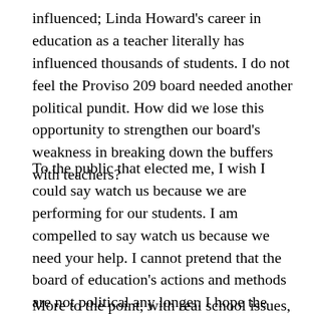influenced; Linda Howard's career in education as a teacher literally has influenced thousands of students. I do not feel the Proviso 209 board needed another political pundit. How did we lose this opportunity to strengthen our board's weakness in breaking down the buffers with teachers?
To the public that elected me, I wish I could say watch us because we are performing for our students. I am compelled to say watch us because we need your help. I cannot pretend that the board of education's actions and methods are not political any longer. I hope the silent majority of our board will take up the cause for discussion instead of limiting our abilities.
More to the point, with real school issues, we need to